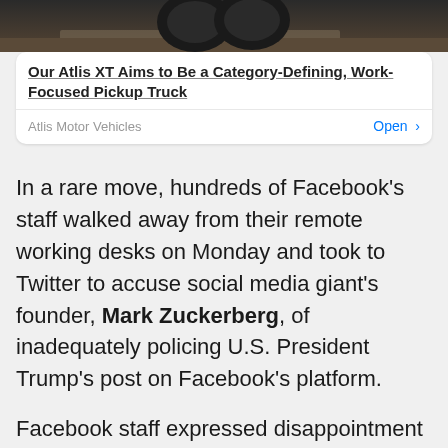[Figure (photo): Partial image of a truck/vehicle on rocky terrain, cropped at top]
Our Atlis XT Aims to Be a Category-Defining, Work-Focused Pickup Truck
Atlis Motor Vehicles   Open >
In a rare move, hundreds of Facebook's staff walked away from their remote working desks on Monday and took to Twitter to accuse social media giant's founder, Mark Zuckerberg, of inadequately policing U.S. President Trump's post on Facebook's platform.
Facebook staff expressed disappointment and disgust over the decision of Facebook's management to allow a statement posted by President Trump, in which he wrote “when the looting starts, the shooting starts.”